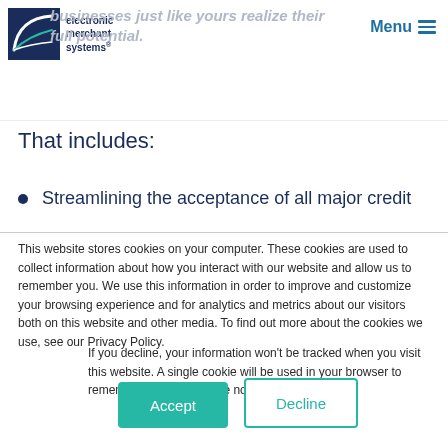electronic merchant systems
businesses just like yours realize their full potential.
That includes:
Streamlining the acceptance of all major credit
This website stores cookies on your computer. These cookies are used to collect information about how you interact with our website and allow us to remember you. We use this information in order to improve and customize your browsing experience and for analytics and metrics about our visitors both on this website and other media. To find out more about the cookies we use, see our Privacy Policy.
If you decline, your information won't be tracked when you visit this website. A single cookie will be used in your browser to remember your preference not to be tracked.
Accept
Decline